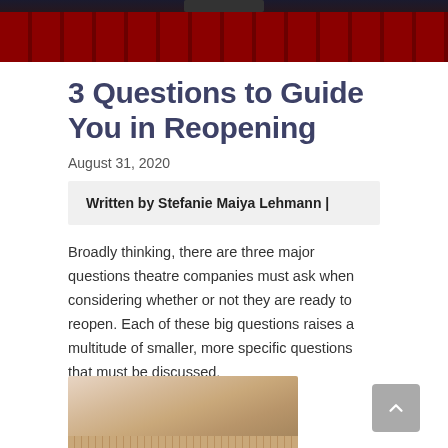[Figure (photo): Theatre auditorium with rows of red seats viewed from stage level, dark background]
3 Questions to Guide You in Reopening
August 31, 2020
Written by Stefanie Maiya Lehmann |
Broadly thinking, there are three major questions theatre companies must ask when considering whether or not they are ready to reopen. Each of these big questions raises a multitude of smaller, more specific questions that must be discussed.
[Figure (photo): Classical stone building exterior with ornate architectural details and columns]